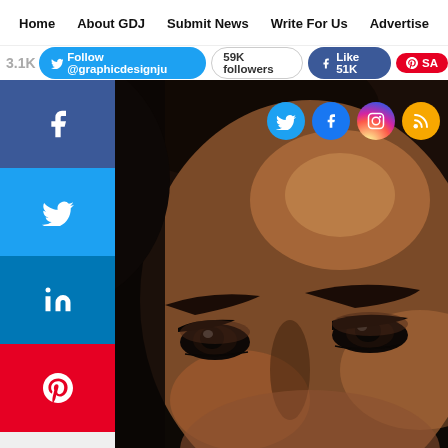Home  About GDJ  Submit News  Write For Us  Advertise
Follow @graphicdesignju  59K followers  Like 51K  SA
[Figure (photo): Close-up portrait of a woman with dark skin, dramatic eye makeup, long lashes, and well-defined eyebrows against a very dark background. Social media share buttons (Facebook, Twitter, LinkedIn, Pinterest, More) are overlaid on the left side. Social media icon circles (Twitter, Facebook, Instagram, RSS) appear in the upper right area of the image.]